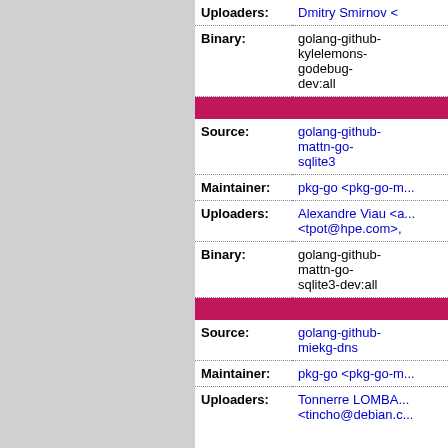| Field | Value | Extra |
| --- | --- | --- |
| Uploaders: | Dmitry Smirnov <... |  |
| Binary: | golang-github-kylelemons-godebug-dev:all | p re... |
| [divider] |  |  |
| Source: | golang-github-mattn-go-sqlite3 | p s... |
| Maintainer: | pkg-go <pkg-go-m... |  |
| Uploaders: | Alexandre Viau <a... <tpot@hpe.com>, |  |
| Binary: | golang-github-mattn-go-sqlite3-dev:all | p re... |
| [divider] |  |  |
| Source: | golang-github-miekg-dns | p s... |
| Maintainer: | pkg-go <pkg-go-m... |  |
| Uploaders: | Tonnerre LOMBA... <tincho@debian.c... |  |